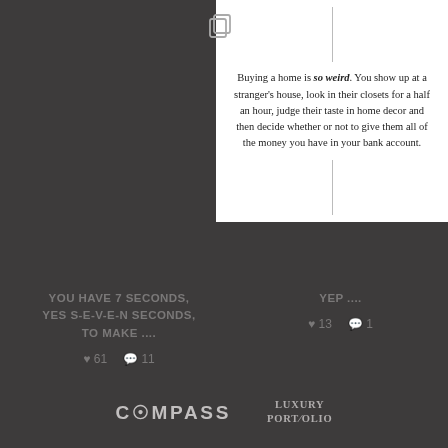[Figure (screenshot): White card with a vertical line above and below a centered text block about buying a home being weird]
Buying a home is so weird. You show up at a stranger's house, look in their closets for a half an hour, judge their taste in home decor and then decide whether or not to give them all of the money you have in your bank account.
YOU HAVE 7 SECONDS, YES S-E-V-E-N SECONDS, TO MAKE ....
♥ 61   💬 11
YEP ....
♥ 13   💬 1
LOAD MORE...
[Figure (logo): Compass logo]
[Figure (logo): Luxury Portfolio logo]